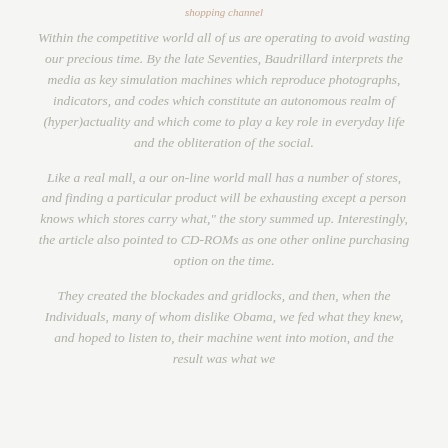shopping channel
Within the competitive world all of us are operating to avoid wasting our precious time. By the late Seventies, Baudrillard interprets the media as key simulation machines which reproduce photographs, indicators, and codes which constitute an autonomous realm of (hyper)actuality and which come to play a key role in everyday life and the obliteration of the social.
Like a real mall, a our on-line world mall has a number of stores, and finding a particular product will be exhausting except a person knows which stores carry what," the story summed up. Interestingly, the article also pointed to CD-ROMs as one other online purchasing option on the time.
They created the blockades and gridlocks, and then, when the Individuals, many of whom dislike Obama, we fed what they knew, and hoped to listen to, their machine went into motion, and the result was what we